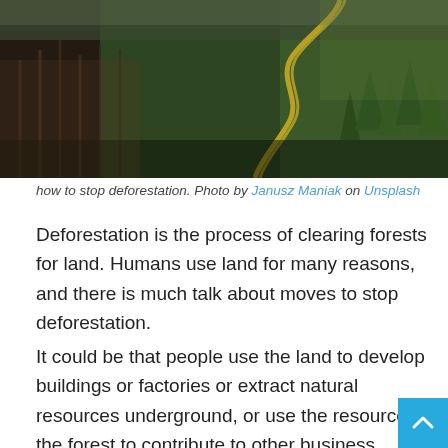[Figure (photo): Aerial view of a mountainside with dense conifer forest, showing deforestation clearing on one side and a winding yellow road/path cutting through the green forest.]
how to stop deforestation. Photo by Janusz Maniak on Unsplash
Deforestation is the process of clearing forests for land. Humans use land for many reasons, and there is much talk about moves to stop deforestation.
It could be that people use the land to develop buildings or factories or extract natural resources underground, or use the resources of the forest to contribute to other business interests. In any case, deforestation contributes to a great deal of destruction.
It's estimated that 18 million acres of land are deforested e